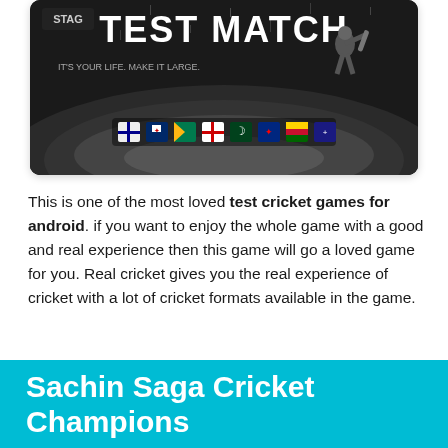[Figure (screenshot): Screenshot of 'Stag Test Match' cricket video game showing a batsman at a cricket stadium with national team flags displayed, text 'IT'S YOUR LIFE. MAKE IT LARGE.' visible in grayscale.]
This is one of the most loved test cricket games for android. if you want to enjoy the whole game with a good and real experience then this game will go a loved game for you. Real cricket gives you the real experience of cricket with a lot of cricket formats available in the game.
Sachin Saga Cricket Champions